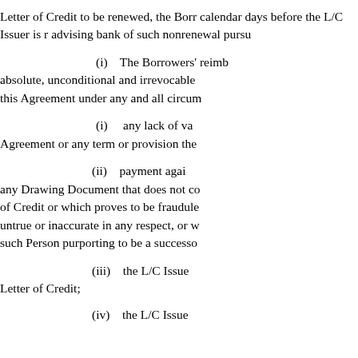Letter of Credit to be renewed, the Bor calendar days before the L/C Issuer is r advising bank of such nonrenewal purs
(i)    The Borrowers' reimb absolute, unconditional and irrevocable this Agreement under any and all circu
(i)    any lack of va Agreement or any term or provision the
(ii)    payment aga any Drawing Document that does not c of Credit or which proves to be fraudul untrue or inaccurate in any respect, or w such Person purporting to be a success
(iii)    the L/C Issue Letter of Credit;
(iv)    the L/C Issue